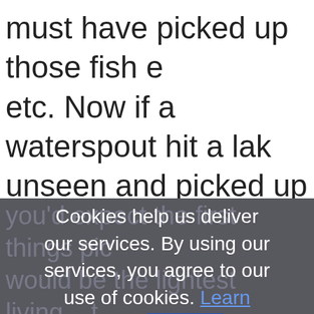must have picked up those fish etc. Now if a waterspout hit a lake unseen and picked up fish, and
you'd expect the first things picked would be the lightest living... fall from rain... something... because... feminine or
Cookies help us deliver our services. By using our services, you agree to our use of cookies. Learn more OK